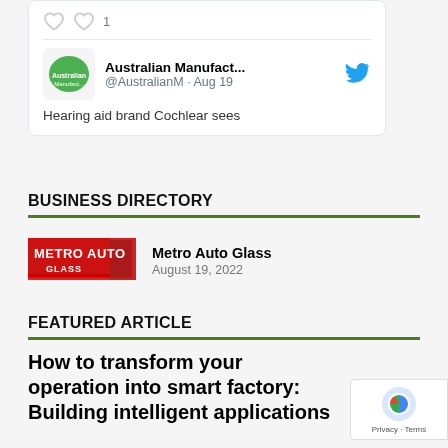[Figure (screenshot): Twitter card showing Australian Manufact... @AustralianM account with Aug 19 date and tweet text 'Hearing aid brand Cochlear sees']
BUSINESS DIRECTORY
[Figure (logo): Metro Auto Glass logo - red and white text with triangular red shape]
Metro Auto Glass
August 19, 2022
FEATURED ARTICLE
How to transform your operation into smart factory: Building intelligent applications